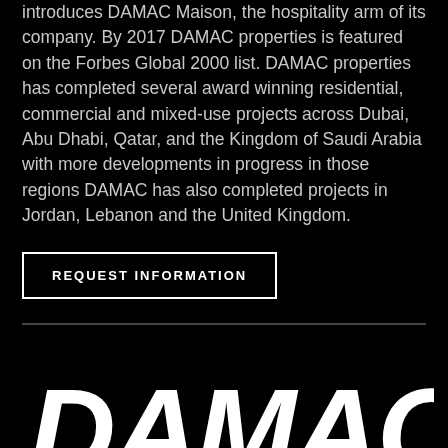introduces DAMAC Maison, the hospitality arm of its company. By 2017 DAMAC properties is featured on the Forbes Global 2000 list. DAMAC properties has completed several award winning residential, commercial and mixed-use projects across Dubai, Abu Dhabi, Qatar, and the Kingdom of Saudi Arabia with more developments in progress in those regions DAMAC has also completed projects in Jordan, Lebanon and the United Kingdom.
REQUEST INFORMATION
[Figure (logo): DAMAC logo in bold white italic lettering on black background]